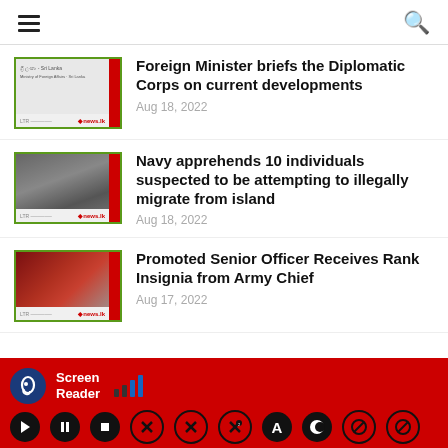Navigation header with hamburger menu and search icon
[Figure (photo): Thumbnail image for Foreign Minister news article with news.lk branding]
Foreign Minister briefs the Diplomatic Corps on current developments
Aug 18, 2022
[Figure (photo): Thumbnail image showing navy personnel with apprehended individuals, news.lk branding]
Navy apprehends 10 individuals suspected to be attempting to illegally migrate from island
Aug 18, 2022
[Figure (photo): Thumbnail image of military ceremony with officer receiving rank insignia, news.lk branding]
Promoted Senior Officer Receives Rank Insignia from Army Chief
Aug 17, 2022
Screen Reader accessibility toolbar with playback controls